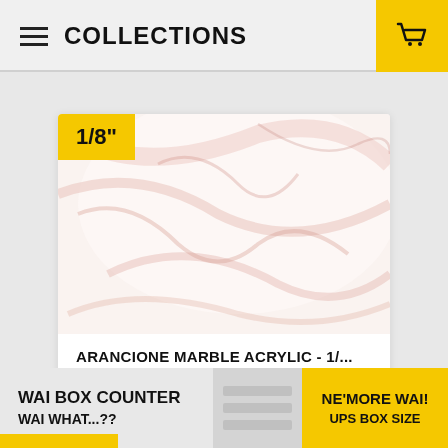COLLECTIONS
[Figure (photo): Arancione marble acrylic sheet product photo — white base with pinkish-red marble veining pattern. Yellow badge overlay showing size '1/8"'.]
ARANCIONE MARBLE ACRYLIC - 1/...
$20.98
BUY
WAI BOX COUNTER
WAI WHAT...??
NE'MORE WAI!
UPS BOX SIZE